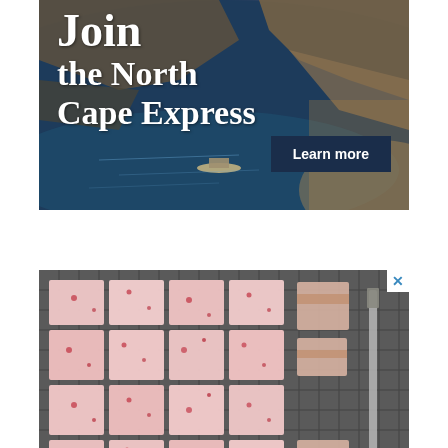[Figure (photo): Advertisement banner showing aerial view of coastal cliffs and ocean with text 'Join the North Cape Express' and a 'Learn more' button]
[Figure (photo): Advertisement showing overhead photo of pink/white frosted baked squares (lamingtons or similar) cut into pieces on a wire cooling rack with a knife, with close-up button and MiNDFOOD Baking club branding at bottom]
MiNDFOOD Baking club